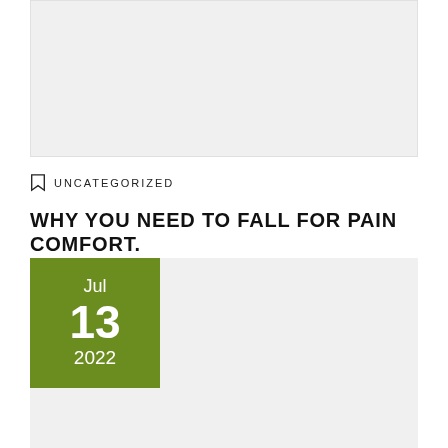[Figure (photo): Top image placeholder area with light gray background]
UNCATEGORIZED
WHY YOU NEED TO FALL FOR PAIN COMFORT.
Jul 13 2022